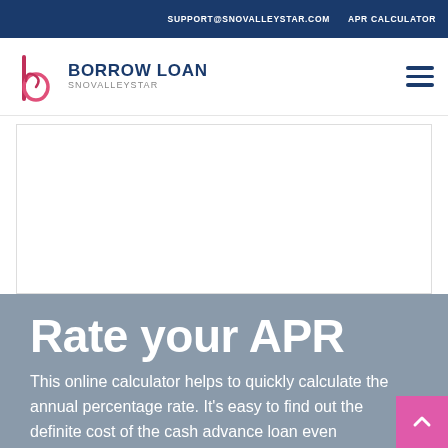SUPPORT@SNOVALLEYSTAR.COM   APR CALCULATOR
[Figure (logo): Borrow Loan Snovalleystar logo with stylized 'b' letter mark in red/pink and navy text]
Rate your APR
This online calculator helps to quickly calculate the annual percentage rate. It's easy to find out the definite cost of the cash advance loan even